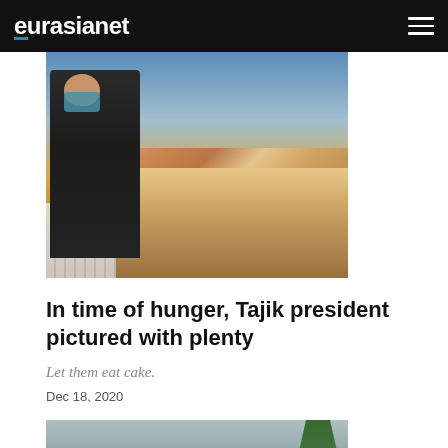eurasianet
[Figure (photo): A man in a black jacket wearing a blue face mask stands in front of a table laden with food and baked goods, with a field of wheat visible in the background display.]
In time of hunger, Tajik president pictured with plenty
Let them eat cake.
Dec 18, 2020
[Figure (photo): People peering over the side of a truck bed, with the number 5322 visible on the truck's back panel. A tree is visible in the background.]